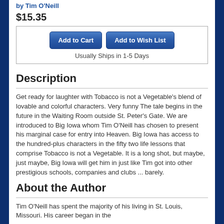by Tim O'Neill
$15.35
Add to Cart | Add to Wish List
Usually Ships in 1-5 Days
Description
Get ready for laughter with Tobacco is not a Vegetable's blend of lovable and colorful characters. Very funny The tale begins in the future in the Waiting Room outside St. Peter's Gate. We are introduced to Big Iowa whom Tim O'Neill has chosen to present his marginal case for entry into Heaven. Big Iowa has access to the hundred-plus characters in the fifty two life lessons that comprise Tobacco is not a Vegetable. It is a long shot, but maybe, just maybe, Big Iowa will get him in just like Tim got into other prestigious schools, companies and clubs ... barely.
About the Author
Tim O'Neill has spent the majority of his living in St. Louis, Missouri. His career began in the